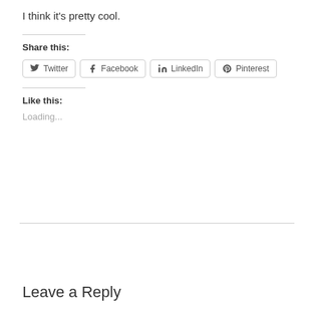I think it’s pretty cool.
Share this:
[Figure (other): Social share buttons: Twitter, Facebook, LinkedIn, Pinterest]
Like this:
Loading...
Leave a Reply